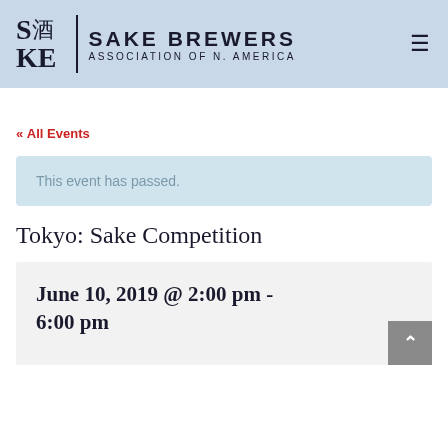SAKE BREWERS ASSOCIATION OF N. AMERICA
« All Events
This event has passed.
Tokyo: Sake Competition
June 10, 2019 @ 2:00 pm - 6:00 pm